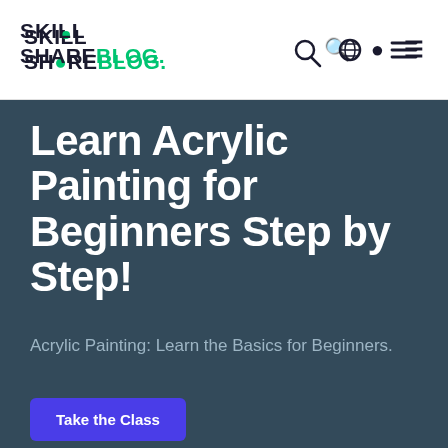SKILL SHARE Blog.
Learn Acrylic Painting for Beginners Step by Step!
Acrylic Painting: Learn the Basics for Beginners.
Take the Class